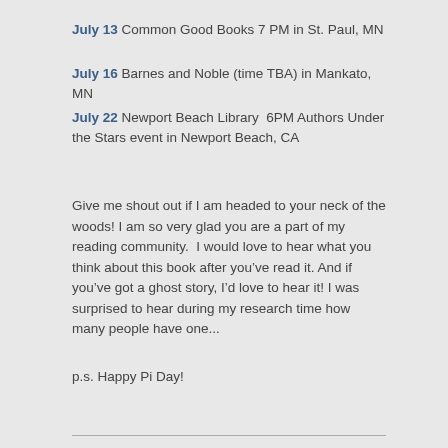July 13 Common Good Books 7 PM in St. Paul, MN
July 16 Barnes and Noble (time TBA) in Mankato, MN
July 22 Newport Beach Library  6PM Authors Under the Stars event in Newport Beach, CA
Give me shout out if I am headed to your neck of the woods! I am so very glad you are a part of my reading community.  I would love to hear what you think about this book after you’ve read it. And if you’ve got a ghost story, I’d love to hear it! I was surprised to hear during my research time how many people have one...
p.s. Happy Pi Day!